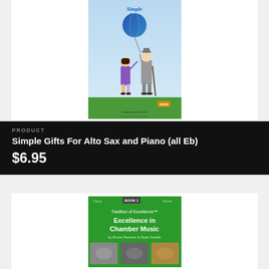[Figure (illustration): Book cover for 'Simple Gifts' showing an illustrated old man in grey suit and hat holding a cane, handing a balloon shaped like a globe to a young girl in a purple dress. Blue sky background with green ground.]
PRODUCT
Simple Gifts For Alto Sax and Piano (all Eb)
$6.95
[Figure (illustration): Book cover for 'Tradition of Excellence: Excellence in Chamber Music by Bruce Pearson & Ryan Nowlin' with a green background and instrument photos at the bottom.]